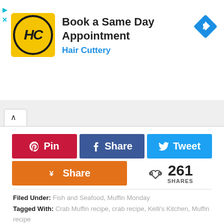[Figure (screenshot): Hair Cuttery advertisement banner with logo, 'Book a Same Day Appointment' headline, and navigation arrow icon]
Book a Same Day Appointment
Hair Cuttery
[Figure (screenshot): Social sharing buttons: Pin (Pinterest, red), Share (Facebook, blue), Tweet (Twitter, light blue), Share (Yummly, orange), with 261 SHARES count]
Filed Under: Fish and Seafood, Muffin Monday
Tagged With: Crab Muffin recipe, crab recipe, Kelli's Kitchen, Muffin recipe